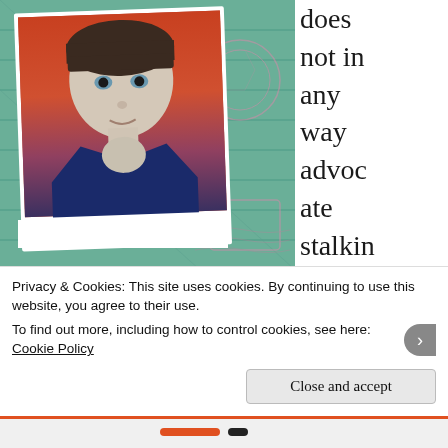[Figure (photo): A polaroid photograph of a young child/teenager with dark hair and a blue jacket, placed on a teal/green passport-style patterned background with pink decorative elements.]
does not in any way advocate stalking!
It was a
A teenage stalker
Privacy & Cookies: This site uses cookies. By continuing to use this website, you agree to their use.
To find out more, including how to control cookies, see here:
Cookie Policy
Close and accept